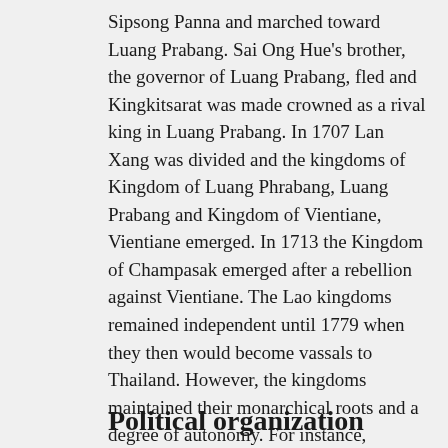Sipsong Panna and marched toward Luang Prabang. Sai Ong Hue's brother, the governor of Luang Prabang, fled and Kingkitsarat was made crowned as a rival king in Luang Prabang. In 1707 Lan Xang was divided and the kingdoms of Kingdom of Luang Phrabang, Luang Prabang and Kingdom of Vientiane, Vientiane emerged. In 1713 the Kingdom of Champasak emerged after a rebellion against Vientiane. The Lao kingdoms remained independent until 1779 when they then would become vassals to Thailand. However, the kingdoms maintained their monarchical roots and a degree of autonomy. For instance, Vientiane also had a tributary relationship with the Vietnamese people, Vietnamese court at Huế, a relationship that, in the wake of the failed Laotian Rebellion for independence (1826–1829) of Anouvong, the last king of Vientiane, became a "casus belli" for the Siamese–Vietnamese War (1831–34).
Political organization